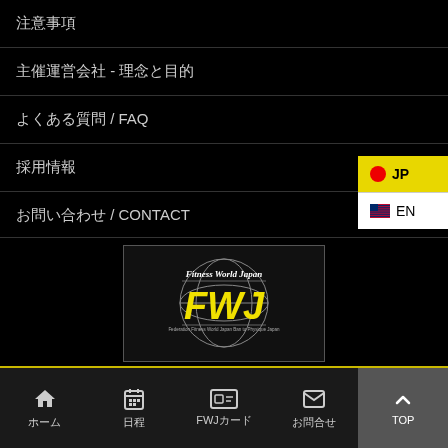注意事項
主催運営会社 - 理念と目的
よくある質問 / FAQ
採用情報
お問い合わせ / CONTACT
商標使用に関するガイドライン
プライバシーポリシー
[Figure (logo): Fitness World Japan FWJ logo with globe graphic]
ホーム　日程　FWJカード　お問合せ　TOP